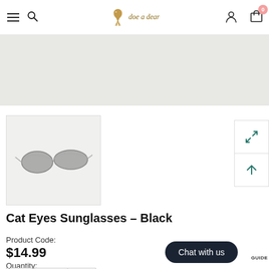doe a dear — navigation bar with hamburger, search, logo, account, cart (0)
[Figure (photo): Light gray banner/hero area at top of product page]
[Figure (photo): Product thumbnail image: Cat Eyes Sunglasses - Black, showing slim cat-eye frames with dark lenses on light gray background]
Cat Eyes Sunglasses – Black
Product Code:
$14.99
Quantity:
Chat with us
GUIDE